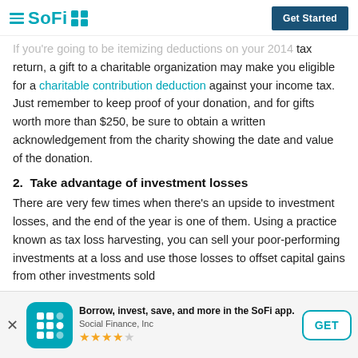SoFi | Get Started
If you're going to be itemizing deductions on your 2014 tax return, a gift to a charitable organization may make you eligible for a charitable contribution deduction against your income tax. Just remember to keep proof of your donation, and for gifts worth more than $250, be sure to obtain a written acknowledgement from the charity showing the date and value of the donation.
2.  Take advantage of investment losses
There are very few times when there’s an upside to investment losses, and the end of the year is one of them. Using a practice known as tax loss harvesting, you can sell your poor-performing investments at a loss and use those losses to offset capital gains from other investments sold
Borrow, invest, save, and more in the SoFi app. Social Finance, Inc ★★★★½ | GET